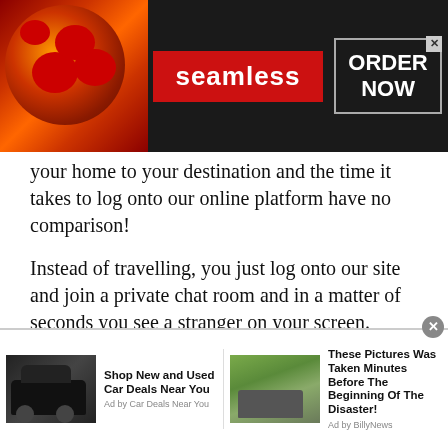[Figure (illustration): Seamless food delivery advertisement banner with pizza image on the left, red Seamless logo badge in the center, and ORDER NOW button on the right with a close X button]
your home to your destination and the time it takes to log onto our online platform have no comparison!
Instead of travelling, you just log onto our site and join a private chat room and in a matter of seconds you see a stranger on your screen. Since, you don’t have to leave your house, online Free Calls Online is undoubtedly much easier and more convenient compared to a face-to-face meeting.
It takes a few seconds to log in, plus you do not even have
[Figure (illustration): Two sponsored advertisement widgets at the bottom: left shows a dark SUV car with headline 'Shop New and Used Car Deals Near You' Ad by Car Deals Near You; right shows outdoor scene with a vehicle and headline 'These Pictures Was Taken Minutes Before The Beginning Of The Disaster!' Ad by BillyNews]